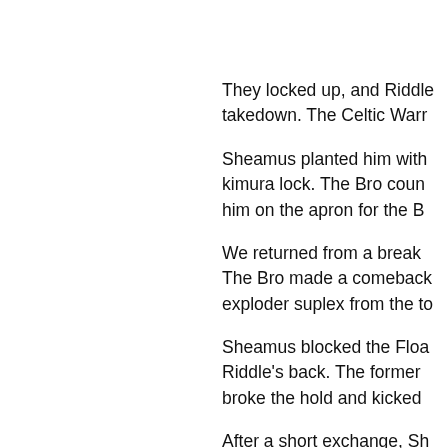They locked up, and Riddle takedown. The Celtic Warr
Sheamus planted him with kimura lock. The Bro coun him on the apron for the B
We returned from a break The Bro made a comeback exploder suplex from the to
Sheamus blocked the Floa Riddle's back. The former broke the hold and kicked
After a short exchange, Sh win.